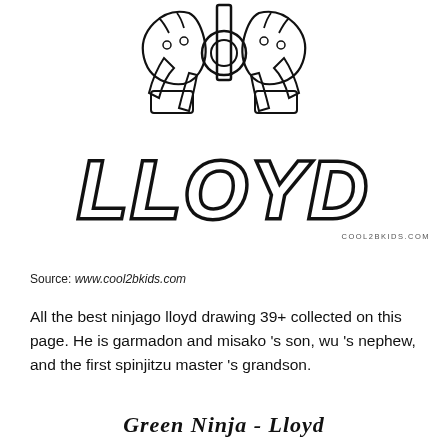[Figure (illustration): Black and white line drawing coloring page showing a Ninjago LLOYD logo with the character name in bold blocky letters and decorative ninja/dragon elements above, with 'COOL2BKIDS.COM' watermark]
Source: www.cool2bkids.com
All the best ninjago lloyd drawing 39+ collected on this page. He is garmadon and misako 's son, wu 's nephew, and the first spinjitzu master 's grandson.
Green Ninja - Lloyd